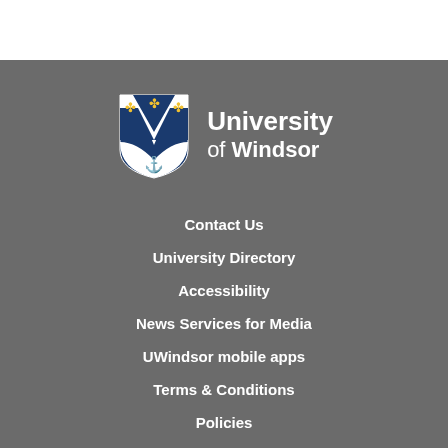[Figure (logo): University of Windsor shield logo with blue and white shield, gold cross symbols, anchor, and W letter design]
Contact Us
University Directory
Accessibility
News Services for Media
UWindsor mobile apps
Terms & Conditions
Policies